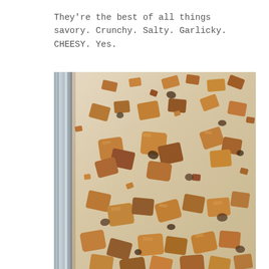They're the best of all things savory. Crunchy. Salty. Garlicky. CHEESY. Yes.
[Figure (photo): Close-up overhead photo of golden-brown homemade croutons spread out on parchment paper on a baking sheet, with a metal tray edge visible on the left side.]